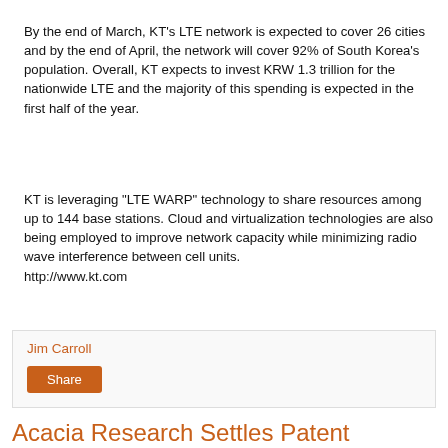By the end of March, KT's LTE network is expected to cover 26 cities and by the end of April, the network will cover 92% of South Korea's population. Overall, KT expects to invest KRW 1.3 trillion for the nationwide LTE and the majority of this spending is expected in the first half of the year.
KT is leveraging "LTE WARP" technology to share resources among up to 144 base stations. Cloud and virtualization technologies are also being employed to improve network capacity while minimizing radio wave interference between cell units.
http://www.kt.com
Jim Carroll
Share
Acacia Research Settles Patent